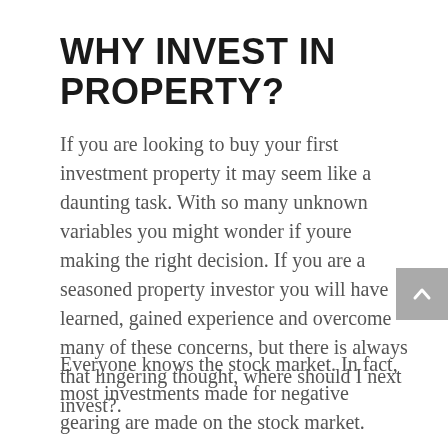WHY INVEST IN PROPERTY?
If you are looking to buy your first investment property it may seem like a daunting task. With so many unknown variables you might wonder if youre making the right decision. If you are a seasoned property investor you will have learned, gained experience and overcome many of these concerns, but there is always that lingering thought, where should I next invest?.
Everyone knows the stock market. In fact, most investments made for negative gearing are made on the stock market.